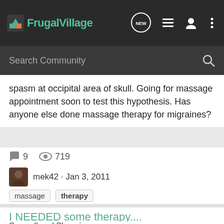FrugalVillage
Search Community
spasm at occipital area of skull. Going for massage appointment soon to test this hypothesis. Has anyone else done massage therapy for migraines?
9   719
mek42 · Jan 3, 2011
massage   therapy
I NEEDED some therapy....
Secondhand Shopping
so I hit the 4 thrift stores right here by my house today. 1st stop Goodwill...after being followed and approached by Creepy McCreepster :skept: I left with: brand new 1 in notebook for DS the kind with clear inserts on the front for